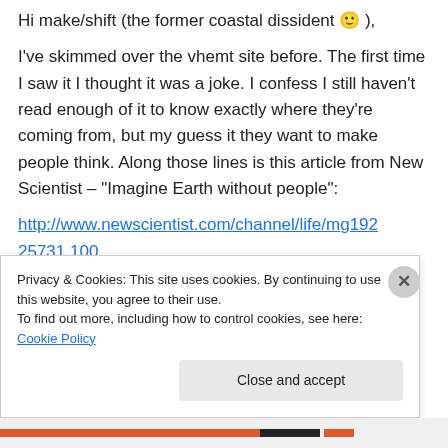Hi make/shift (the former coastal dissident 🙂 ),
I've skimmed over the vhemt site before. The first time I saw it I thought it was a joke. I confess I still haven't read enough of it to know exactly where they're coming from, but my guess it they want to make people think. Along those lines is this article from New Scientist – "Imagine Earth without people":
http://www.newscientist.com/channel/life/mg19225731.100
Privacy & Cookies: This site uses cookies. By continuing to use this website, you agree to their use.
To find out more, including how to control cookies, see here: Cookie Policy